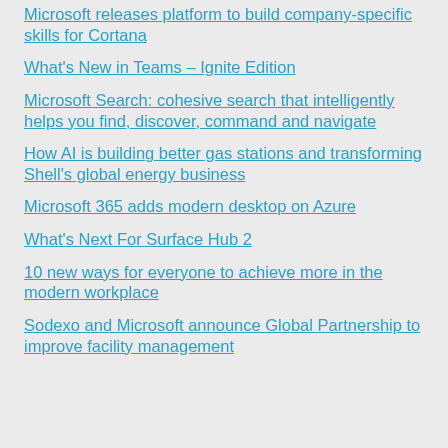Microsoft releases platform to build company-specific skills for Cortana
What's New in Teams – Ignite Edition
Microsoft Search: cohesive search that intelligently helps you find, discover, command and navigate
How AI is building better gas stations and transforming Shell's global energy business
Microsoft 365 adds modern desktop on Azure
What's Next For Surface Hub 2
10 new ways for everyone to achieve more in the modern workplace
Sodexo and Microsoft announce Global Partnership to improve facility management